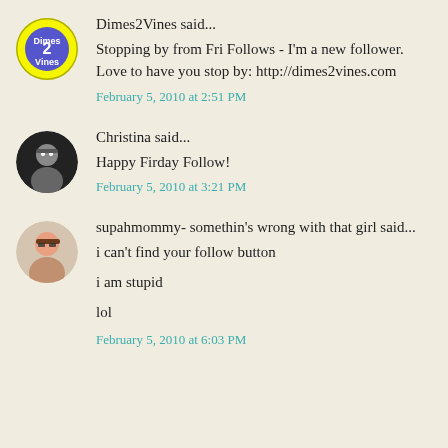Dimes2Vines said...
Stopping by from Fri Follows - I'm a new follower. Love to have you stop by: http://dimes2vines.com
February 5, 2010 at 2:51 PM
Christina said...
Happy Firday Follow!
February 5, 2010 at 3:21 PM
supahmommy- somethin's wrong with that girl said...
i can't find your follow button
i am stupid
lol
February 5, 2010 at 6:03 PM